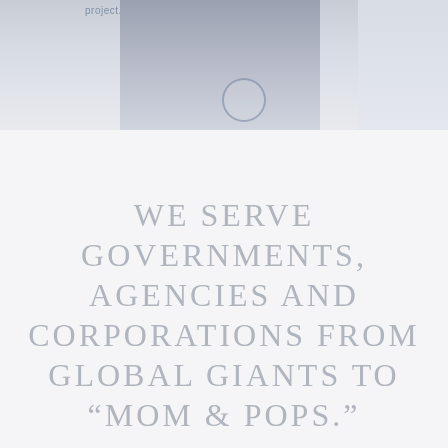[Figure (photo): A person in light grey/blue clothing photographed in a bright white environment, with partial text 'project...' visible in top left corner and a white panel on the right side. A faint circular overlay appears near center.]
WE SERVE GOVERNMENTS, AGENCIES AND CORPORATIONS FROM GLOBAL GIANTS TO “MOM & POPS.”